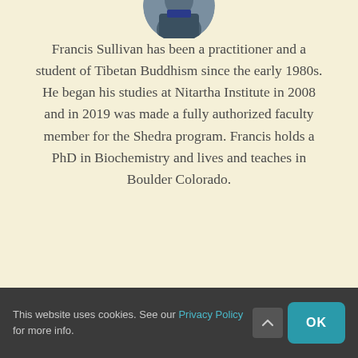[Figure (photo): Circular portrait photo of Francis Sullivan partially visible at top of page]
Francis Sullivan has been a practitioner and a student of Tibetan Buddhism since the early 1980s. He began his studies at Nitartha Institute in 2008 and in 2019 was made a fully authorized faculty member for the Shedra program. Francis holds a PhD in Biochemistry and lives and teaches in Boulder Colorado.
READ MORE
Mark Seibold
This website uses cookies. See our Privacy Policy for more info.